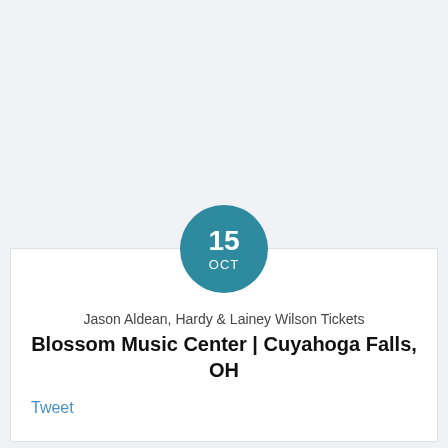[Figure (other): Teal circular date badge showing '15 OCT']
Jason Aldean, Hardy & Lainey Wilson Tickets
Blossom Music Center | Cuyahoga Falls, OH
Tweet